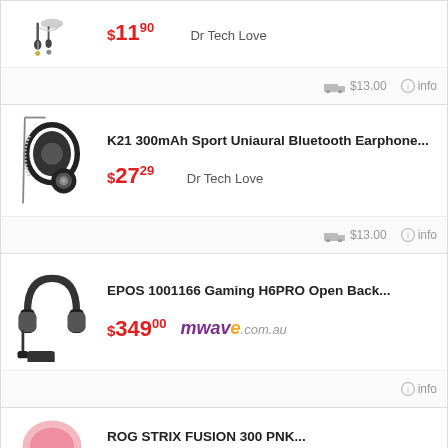[Figure (photo): In-ear earphones with cable and 3.5mm jack]
$11.90  Dr Tech Love
$13.00  info
K21 300mAh Sport Uniaural Bluetooth Earphone...
[Figure (photo): Single-ear Bluetooth earphone with ear hook]
$27.29  Dr Tech Love
$13.00  info
EPOS 1001166 Gaming H6PRO Open Back...
[Figure (photo): Gaming headset with microphone]
$349.00  mwave.com.au
info
ROG STRIX FUSION 300 PNK...